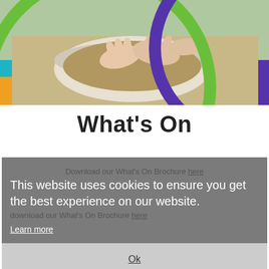[Figure (photo): Overhead photo of hands working with dough or clay in a bowl, with colourful geometric background featuring pink, teal, orange, purple strips and green and purple circular outlines]
What's On
Download our What's On Brochure here
This website uses cookies to ensure you get the best experience on our website.
Download our What's On Brochure here
Learn more
Ok